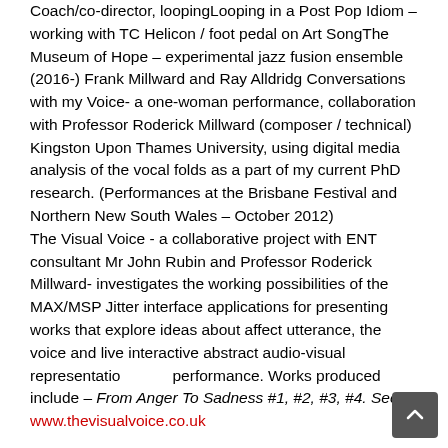Coach/co-director, loopingLooping in a Post Pop Idiom – working with TC Helicon / foot pedal on Art SongThe Museum of Hope – experimental jazz fusion ensemble (2016-) Frank Millward and Ray Alldridg Conversations with my Voice- a one-woman performance, collaboration with Professor Roderick Millward (composer / technical) Kingston Upon Thames University, using digital media analysis of the vocal folds as a part of my current PhD research. (Performances at the Brisbane Festival and Northern New South Wales – October 2012) The Visual Voice - a collaborative project with ENT consultant Mr John Rubin and Professor Roderick Millward- investigates the working possibilities of the MAX/MSP Jitter interface applications for presenting works that explore ideas about affect utterance, the voice and live interactive abstract audio-visual representation performance. Works produced include – From Anger To Sadness #1, #2, #3, #4. See... [link]www.thevisualvoice.co.uk